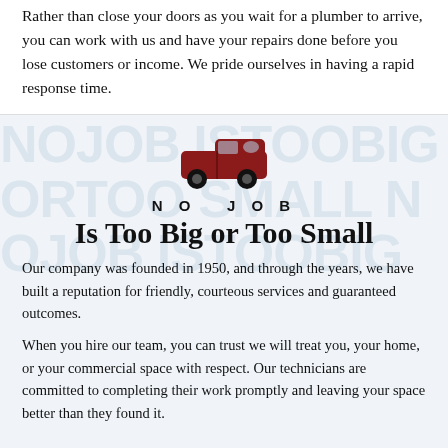Rather than close your doors as you wait for a plumber to arrive, you can work with us and have your repairs done before you lose customers or income. We pride ourselves in having a rapid response time.
[Figure (illustration): Dark red van/vehicle icon centered on light blue-grey background]
NO JOB
Is Too Big or Too Small
Our company was founded in 1950, and through the years, we have built a reputation for friendly, courteous services and guaranteed outcomes.
When you hire our team, you can trust we will treat you, your home, or your commercial space with respect. Our technicians are committed to completing their work promptly and leaving your space better than they found it.